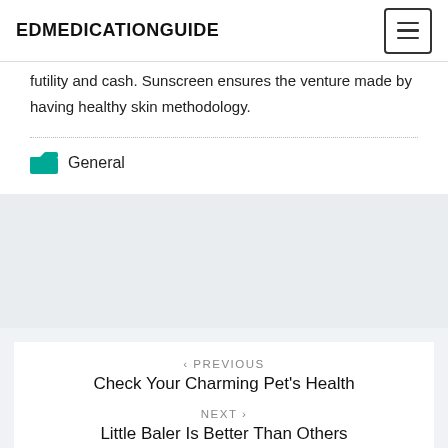EDMEDICATIONGUIDE
futility and cash. Sunscreen ensures the venture made by having healthy skin methodology.
General
< PREVIOUS
Check Your Charming Pet's Health
NEXT >
Little Baler Is Better Than Others